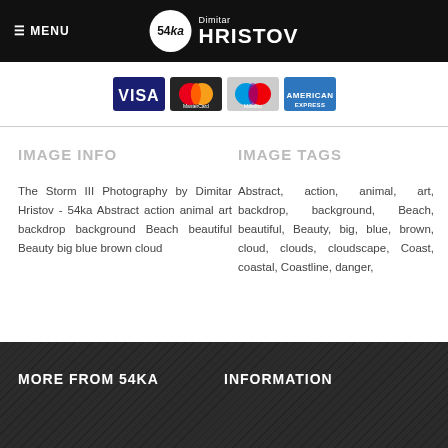≡ MENU   54ka Dimitar HRISTOV
[Figure (logo): Payment card logos: VISA, MasterCard, Maestro, American Express]
IMAGE INFO
The Storm III Photography by Dimitar Hristov - 54ka Abstract action animal art backdrop background Beach beautiful Beauty big blue brown cloud
IMAGE TAGS
Abstract, action, animal, art, backdrop, background, Beach, beautiful, Beauty, big, blue, brown, cloud, clouds, cloudscape, Coast, coastal, Coastline, danger,
MORE FROM 54KA   INFORMATION